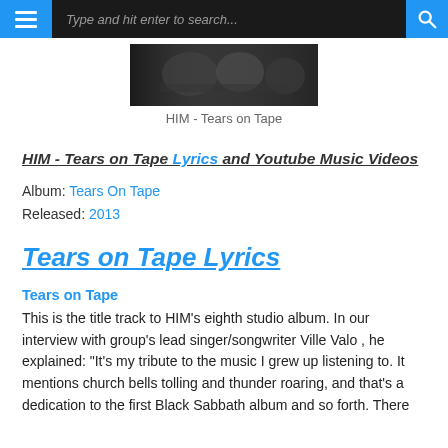Type and hit enter to search...
[Figure (photo): Album cover image for HIM - Tears on Tape, dark toned photo]
HIM - Tears on Tape
HIM - Tears on Tape Lyrics and Youtube Music Videos
Album: Tears On Tape
Released: 2013
Tears on Tape Lyrics
Tears on Tape
This is the title track to HIM's eighth studio album. In our interview with group's lead singer/songwriter Ville Valo , he explained: "It's my tribute to the music I grew up listening to. It mentions church bells tolling and thunder roaring, and that's a dedication to the first Black Sabbath album and so forth. There